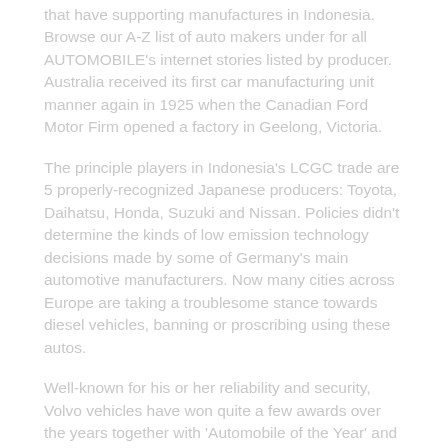that have supporting manufactures in Indonesia. Browse our A-Z list of auto makers under for all AUTOMOBILE's internet stories listed by producer. Australia received its first car manufacturing unit manner again in 1925 when the Canadian Ford Motor Firm opened a factory in Geelong, Victoria.
The principle players in Indonesia's LCGC trade are 5 properly-recognized Japanese producers: Toyota, Daihatsu, Honda, Suzuki and Nissan. Policies didn't determine the kinds of low emission technology decisions made by some of Germany's main automotive manufacturers. Now many cities across Europe are taking a troublesome stance towards diesel vehicles, banning or proscribing using these autos.
Well-known for his or her reliability and security, Volvo vehicles have won quite a few awards over the years together with 'Automobile of the Year' and 'Greatest 4×4'. We are delighted to be able to offer MINI cars on the market from our just lately-acquired dealerships in Crewe, Stoke and Stafford. It was the perfect half-year performance since 2000, in accordance with the Society of Motor Producers and Merchants (SMMT), as billions of pounds of earlier investment in new models got here to fruition.